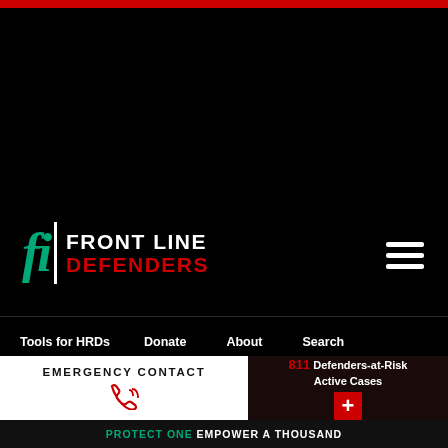[Figure (logo): Front Line Defenders logo with stylized 'fi' in teal, vertical white divider, FRONT LINE in white and DEFENDERS in red, on black background]
Tools for HRDs  Donate  About  Search
Available in: English
CASE HISTORY: CORAYA
EMERGENCY CONTACT
811 Defenders-at-Risk Active Cases
PROTECT ONE EMPOWER A THOUSAND